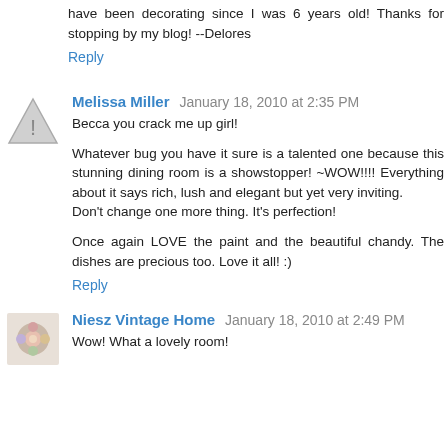have been decorating since I was 6 years old! Thanks for stopping by my blog! --Delores
Reply
Melissa Miller  January 18, 2010 at 2:35 PM
Becca you crack me up girl!
Whatever bug you have it sure is a talented one because this stunning dining room is a showstopper! ~WOW!!!! Everything about it says rich, lush and elegant but yet very inviting.
Don't change one more thing. It's perfection!
Once again LOVE the paint and the beautiful chandy. The dishes are precious too. Love it all! :)
Reply
Niesz Vintage Home  January 18, 2010 at 2:49 PM
Wow! What a lovely room!